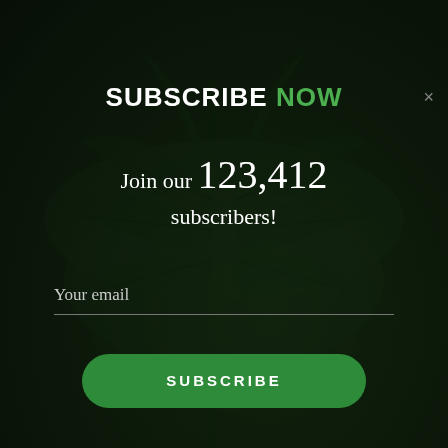[Figure (photo): Dark green cannabis leaf background with dim overlay]
SUBSCRIBE NOW
Join our 123,412 subscribers!
Your email
SUBSCRIBE